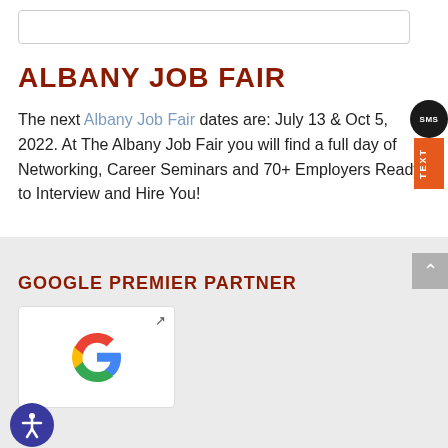ALBANY JOB FAIR
The next Albany Job Fair dates are: July 13 & Oct 5, 2022. At The Albany Job Fair you will find a full day of Networking, Career Seminars and 70+ Employers Ready to Interview and Hire You!
GOOGLE PREMIER PARTNER
[Figure (logo): Google logo G multicolor]